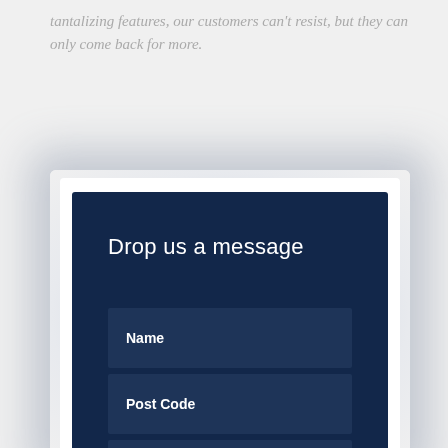tantalizing features, our customers can't resist, but they can only come back for more.
[Figure (screenshot): A dark navy blue contact form card with a white border and shadow effect, containing a 'Drop us a message' heading and three input fields labeled Name, Post Code, and Email Address.]